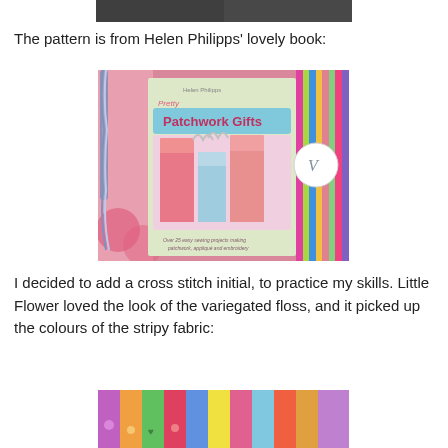[Figure (photo): Top portion of a photo showing a dark/shadowed object, partially cropped at the top of the page]
The pattern is from Helen Philipps' lovely book:
[Figure (photo): Photo of the book 'Pretty Patchwork Gifts' by Helen Philipps, showing the cover with colorful patchwork house figures, placed on a pink background with stripy fabric and a bookmark with letter V]
I decided to add a cross stitch initial, to practice my skills. Little Flower loved the look of the variegated floss, and it picked up the colours of the stripy fabric:
[Figure (photo): Bottom portion of colorful stripy patchwork fabric, partially cropped at the bottom of the page]